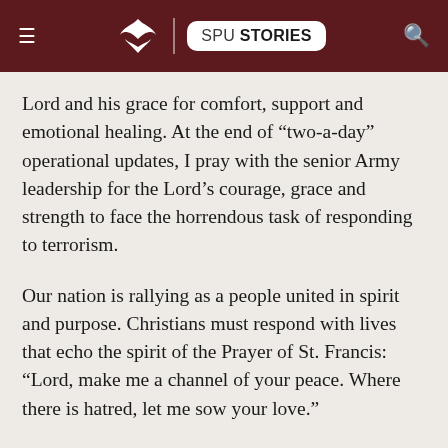SPU STORIES
Lord and his grace for comfort, support and emotional healing. At the end of “two-a-day” operational updates, I pray with the senior Army leadership for the Lord’s courage, grace and strength to face the horrendous task of responding to terrorism.
Our nation is rallying as a people united in spirit and purpose. Christians must respond with lives that echo the spirit of the Prayer of St. Francis: “Lord, make me a channel of your peace. Where there is hatred, let me sow your love.”